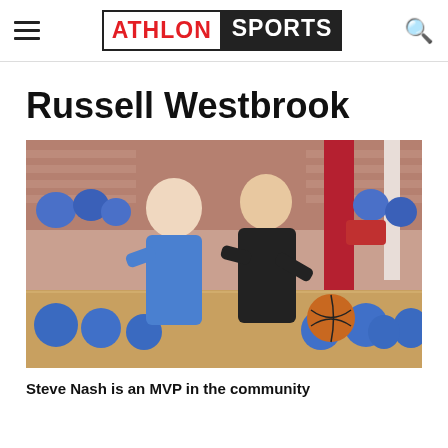ATHLON SPORTS
Russell Westbrook
[Figure (photo): Basketball camp scene with a man in a black polo shirt dribbling a ball, surrounded by youth players in blue shirts inside a gymnasium.]
Steve Nash is an MVP in the community